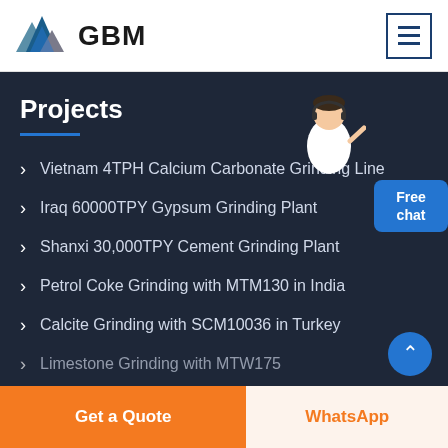GBM
Projects
Vietnam 4TPH Calcium Carbonate Grinding Line
Iraq 60000TPY Gypsum Grinding Plant
Shanxi 30,000TPY Cement Grinding Plant
Petrol Coke Grinding with MTM130 in India
Calcite Grinding with SCM10036 in Turkey
Limestone Grinding with MTW175